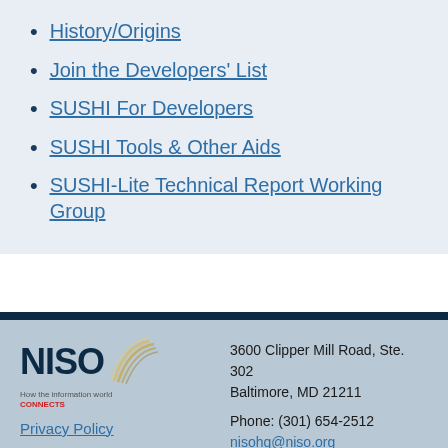History/Origins
Join the Developers' List
SUSHI For Developers
SUSHI Tools & Other Aids
SUSHI-Lite Technical Report Working Group
3600 Clipper Mill Road, Ste. 302
Baltimore, MD 21211
Phone: (301) 654-2512
nisohq@niso.org
Privacy Policy